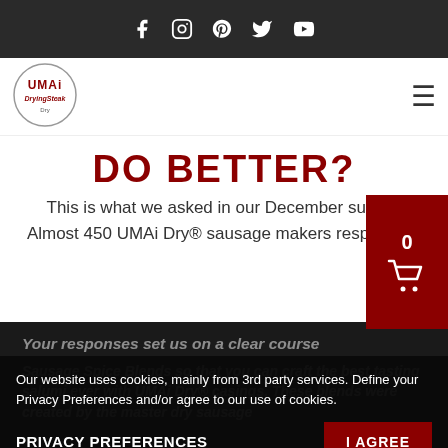Social icons: Facebook, Instagram, Pinterest, Twitter, YouTube
[Figure (logo): UMAi Dry DryingSteak circular logo with red text]
DO BETTER?
This is what we asked in our December survey. Almost 450 UMAi Dry® sausage makers responded!
Your responses set us on a clear course
Sausage Spice Blends so that you can craft the best tasting salumi ever with UMAi Dry® casings. These blends were created by the master dry sausage
Our website uses cookies, mainly from 3rd party services. Define your Privacy Preferences and/or agree to our use of cookies.
PRIVACY PREFERENCES
I AGREE